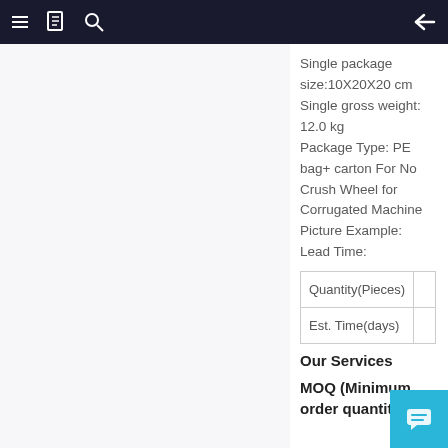≡  [book icon]  [search icon]  ←
Single package size:10X20X20 cm Single gross weight: 12.0 kg Package Type: PE bag+ carton For No Crush Wheel for Corrugated Machine Picture Example: Lead Time:
| Quantity(Pieces) |  |
| --- | --- |
| Quantity(Pieces) |  |
| Est. Time(days) |  |
Our Services
MOQ (Minimum order quantity